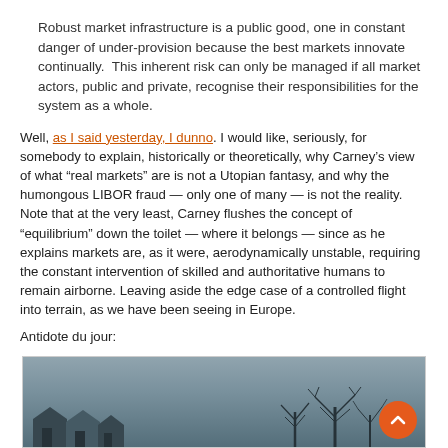Robust market infrastructure is a public good, one in constant danger of under-provision because the best markets innovate continually.  This inherent risk can only be managed if all market actors, public and private, recognise their responsibilities for the system as a whole.
Well, as I said yesterday, I dunno. I would like, seriously, for somebody to explain, historically or theoretically, why Carney’s view of what “real markets” are is not a Utopian fantasy, and why the humongous LIBOR fraud — only one of many — is not the reality. Note that at the very least, Carney flushes the concept of “equilibrium” down the toilet — where it belongs — since as he explains markets are, as it were, aerodynamically unstable, requiring the constant intervention of skilled and authoritative humans to remain airborne. Leaving aside the edge case of a controlled flight into terrain, as we have been seeing in Europe.
Antidote du jour:
[Figure (photo): A winter landscape photo showing bare trees silhouetted against a grey-blue sky, with snow-covered rooftops of houses visible at the lower left.]